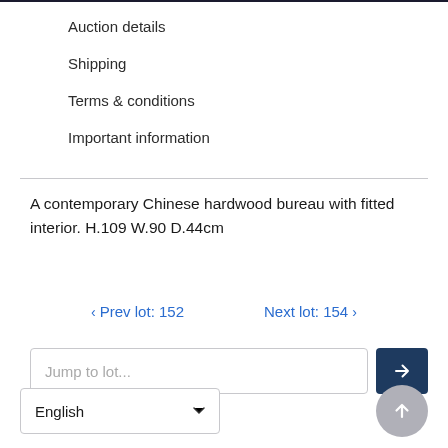Auction details
Shipping
Terms & conditions
Important information
A contemporary Chinese hardwood bureau with fitted interior. H.109 W.90 D.44cm
‹ Prev lot: 152    Next lot: 154 ›
Jump to lot...
English ▼